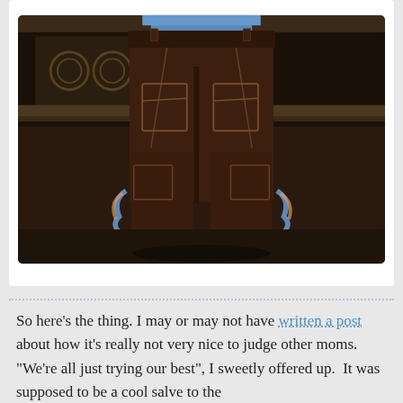[Figure (photo): Back view of a young child wearing dark brown/maroon cargo shorts, standing in front of what appears to be a decorative door or gate with an ornate pattern. The child's blue shirt is partially visible at the top. Colorful fabric or accessories are visible at the sides near the child's hands.]
So here's the thing. I may or may not have written a post about how it's really not very nice to judge other moms. “We’re all just trying our best”, I sweetly offered up.  It was supposed to be a cool salve to the